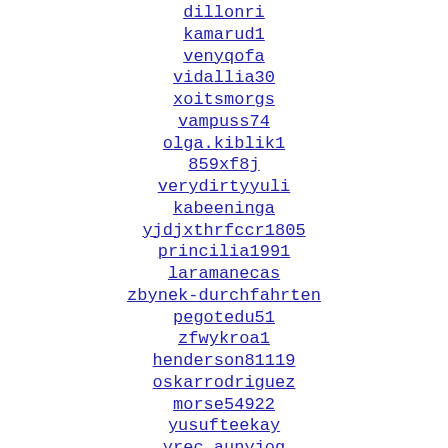dillonri
kamarud1
venyqofa
vidallia30
xoitsmorgs
vampuss74
olga.kiblik1
859xf8j
verydirtyyuli
kabeeninga
yjdjxthrfccr1805
princilia1991
laramanecas
zbynek-durchfahrten
pegotedu51
zfwykroa1
henderson81119
oskarrodriguez
morse54922
yusufteekay
yrec.aunyjog
wanlessd
victr_zz
thankale
mosnologo
usatrip30
pakaxone
salmansumrik
stomatolog-mono
xcf3702107